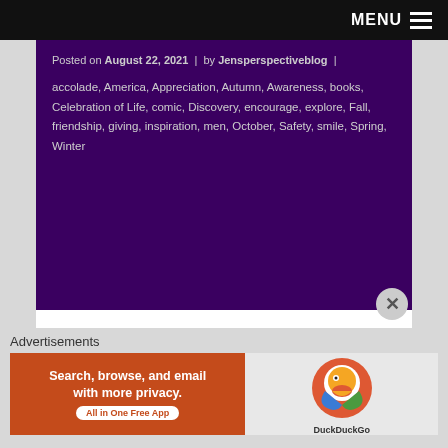MENU ≡
Posted on August 22, 2021 | by Jensperspectiveblog |
accolade, America, Appreciation, Autumn, Awareness, books, Celebration of Life, comic, Discovery, encourage, explore, Fall, friendship, giving, inspiration, men, October, Safety, smile, Spring, Winter
[Figure (logo): Balloons Around the World logo - semicircular badge with text 'BALLOONS AROUND THE WORLD' curved around the top, a globe with balloons in the center, and large text 'BALLOONS AROUND' at the bottom in red and cream colors]
Advertisements
[Figure (screenshot): DuckDuckGo advertisement banner: orange left side with text 'Search, browse, and email with more privacy. All in One Free App' and right side showing DuckDuckGo duck logo on grey background]